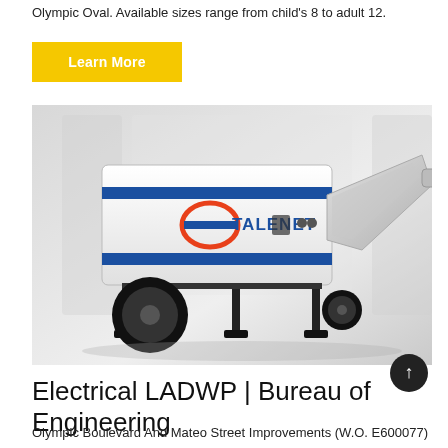Olympic Oval. Available sizes range from child's 8 to adult 12.
[Figure (other): Yellow 'Learn More' button]
[Figure (photo): TALENET branded concrete pump machine on wheels, white body with blue and red logo, shown in a bright industrial setting.]
Electrical LADWP | Bureau of Engineering
Olympic Boulevard And Mateo Street Improvements (W.O. E600077)